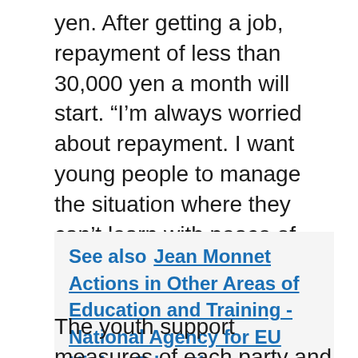yen. After getting a job, repayment of less than 30,000 yen a month will start. “I’m always worried about repayment. I want young people to manage the situation where they can’t learn with peace of mind.” I want to get married and have children in the future, but in the current situation, I’m reluctant.
See also  Jean Monnet Actions in Other Areas of Education and Training - National Agency for EU Higher Education Cooperation - DAAD
The youth support measures of each party and each candidate searched on the Internet are similar. I go to vote, but I have a strong